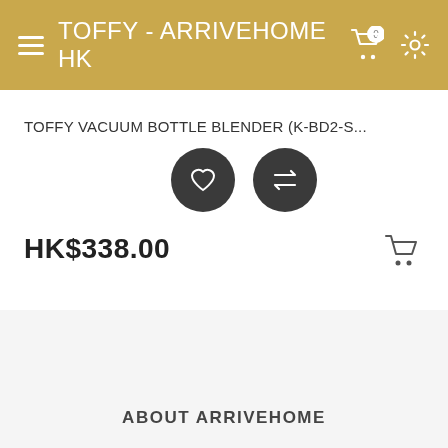TOFFY - ARRIVEHOME HK
TOFFY VACUUM BOTTLE BLENDER (K-BD2-S...
HK$338.00
Showing 1 to 12 of 12 (1 Pages)
ABOUT ARRIVEHOME